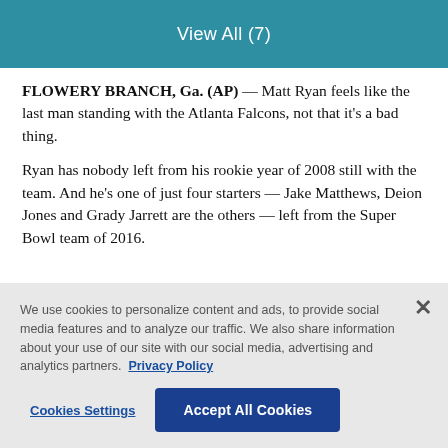View All (7)
FLOWERY BRANCH, Ga. (AP) — Matt Ryan feels like the last man standing with the Atlanta Falcons, not that it's a bad thing.
Ryan has nobody left from his rookie year of 2008 still with the team. And he's one of just four starters — Jake Matthews, Deion Jones and Grady Jarrett are the others — left from the Super Bowl team of 2016.
We use cookies to personalize content and ads, to provide social media features and to analyze our traffic. We also share information about your use of our site with our social media, advertising and analytics partners.  Privacy Policy
Cookies Settings
Accept All Cookies